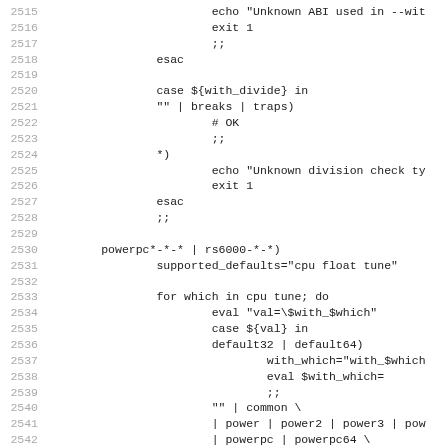Code listing lines 2515-2546, shell script for powerpc/rs6000 architecture detection and ABI configuration